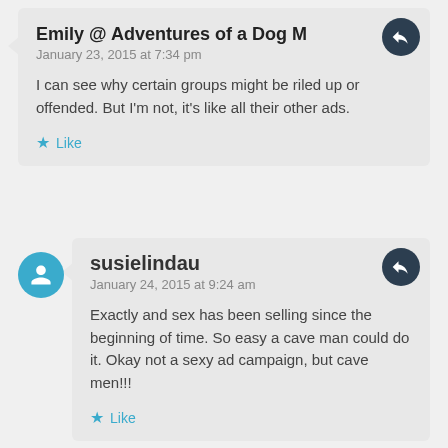Emily @ Adventures of a Dog M...
January 23, 2015 at 7:34 pm
I can see why certain groups might be riled up or offended. But I'm not, it's like all their other ads.
Like
susielindau
January 24, 2015 at 9:24 am
Exactly and sex has been selling since the beginning of time. So easy a cave man could do it. Okay not a sexy ad campaign, but cave men!!!
Like